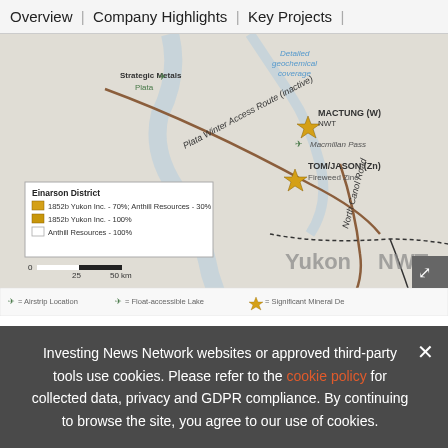Overview | Company Highlights | Key Projects |
[Figure (map): Map showing Einarson District in Yukon/NWT area with Plata Winter Access Route (inactive), North Canol Road, MACTUNG (W) NWT, TOM/JASON (Zn) Fireweed Zinc, Strategic Metals Plata, and Macmillan Pass locations. Legend shows Einarson District claims: 1852b Yukon Inc. 70% Anthill Resources 30%, 1852b Yukon Inc. 100%, Anthill Resources 100%. Scale bar 0-25-50 km. Icons for Airstrip Location, Float-accessible Lake, and Significant Mineral Deposit.]
The Einarson property covers five primary target areas with high-grade surface grab samples and wide-scale gold anor s
Investing News Network websites or approved third-party tools use cookies. Please refer to the cookie policy for collected data, privacy and GDPR compliance. By continuing to browse the site, you agree to our use of cookies.